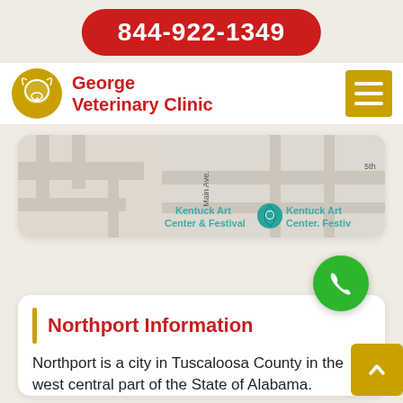844-922-1349
[Figure (logo): George Veterinary Clinic logo — golden dog/cat head icon with red cross, beside red text 'George Veterinary Clinic']
[Figure (map): Google Maps screenshot showing Kentuck Art Center & Festival area, with a teal map pin marker]
Northport Information
Northport is a city in Tuscaloosa County in the west central part of the State of Alabama. Located on the Black Warrior